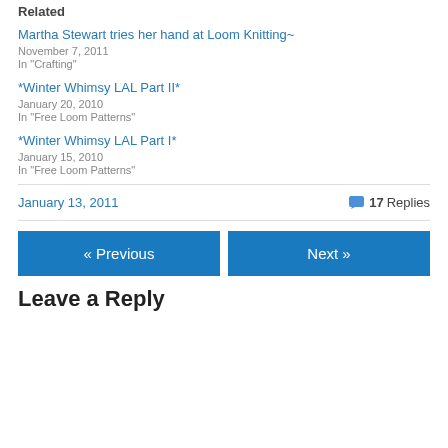Related
Martha Stewart tries her hand at Loom Knitting~
November 7, 2011
In "Crafting"
*Winter Whimsy LAL Part II*
January 20, 2010
In "Free Loom Patterns"
*Winter Whimsy LAL Part I*
January 15, 2010
In "Free Loom Patterns"
January 13, 2011    17 Replies
« Previous    Next »
Leave a Reply